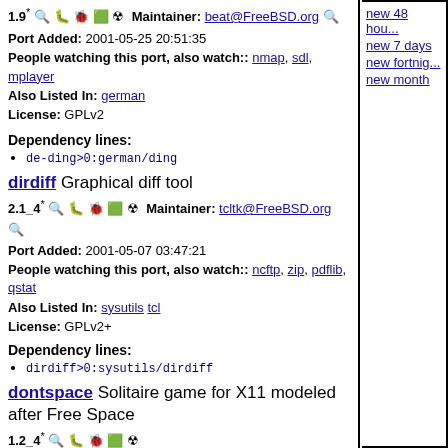1.9* [icons] Maintainer: beat@FreeBSD.org [search icon]
Port Added: 2001-05-25 20:51:35
People watching this port, also watch:: nmap, sdl, mplayer
Also Listed In: german
License: GPLv2
Dependency lines:
de-ding>0:german/ding
dirdiff Graphical diff tool
2.1_4* [icons] Maintainer: tcltk@FreeBSD.org [search icon]
Port Added: 2001-05-07 03:47:21
People watching this port, also watch:: ncftp, zip, pdflib, qstat
Also Listed In: sysutils tcl
License: GPLv2+
Dependency lines:
dirdiff>0:sysutils/dirdiff
dontspace Solitaire game for X11 modeled after Free Space
1.2_4* [icons]
There is no maintainer for this port.
Any concerns regarding this port should be directed to the FreeBSD Ports mailing list via ports@FreeBSD.org [search icon]
new 48 hou...
new 7 days
new fortnig...
new month